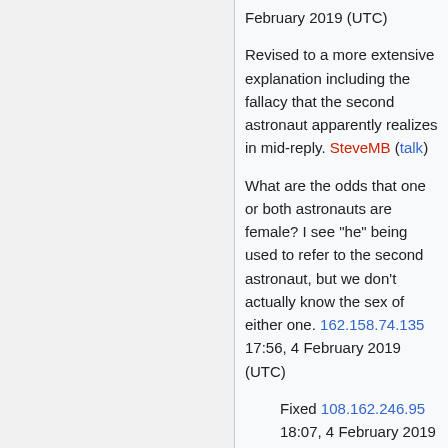February 2019 (UTC)
Revised to a more extensive explanation including the fallacy that the second astronaut apparently realizes in mid-reply. SteveMB (talk)
What are the odds that one or both astronauts are female? I see "he" being used to refer to the second astronaut, but we don't actually know the sex of either one. 162.158.74.135 17:56, 4 February 2019 (UTC)
Fixed 108.162.246.95 18:07, 4 February 2019 (UTC)
This seems wrong, at least with the lightning explanation. I